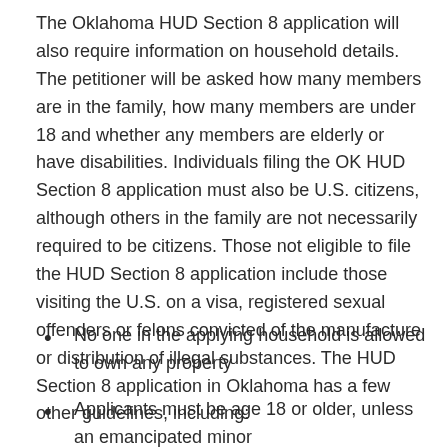The Oklahoma HUD Section 8 application will also require information on household details. The petitioner will be asked how many members are in the family, how many members are under 18 and whether any members are elderly or have disabilities. Individuals filing the OK HUD Section 8 application must also be U.S. citizens, although others in the family are not necessarily required to be citizens. Those not eligible to file the HUD Section 8 application include those visiting the U.S. on a visa, registered sexual offenders or felons convicted of the manufacture or distribution of illegal substances. The HUD Section 8 application in Oklahoma has a few other guidelines, including:
No one in the applying household is allowed to own any property
Applicants must be age 18 or older, unless an emancipated minor